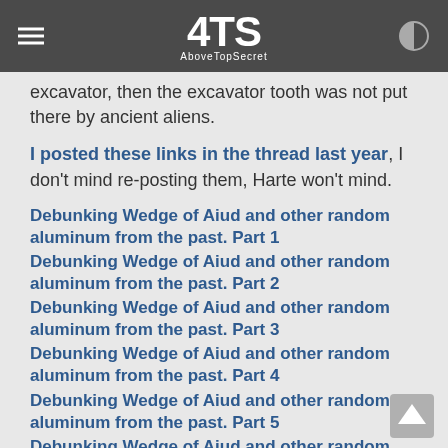4TS AboveTopSecret
excavator, then the excavator tooth was not put there by ancient aliens.
I posted these links in the thread last year, I don't mind re-posting them, Harte won't mind.
Debunking Wedge of Aiud and other random aluminum from the past. Part 1
Debunking Wedge of Aiud and other random aluminum from the past. Part 2
Debunking Wedge of Aiud and other random aluminum from the past. Part 3
Debunking Wedge of Aiud and other random aluminum from the past. Part 4
Debunking Wedge of Aiud and other random aluminum from the past. Part 5
Debunking Wedge of Aiud and other random aluminum from the past. Part 6
Debunking Wedge of Aiud and other random aluminum from the past. Part 7